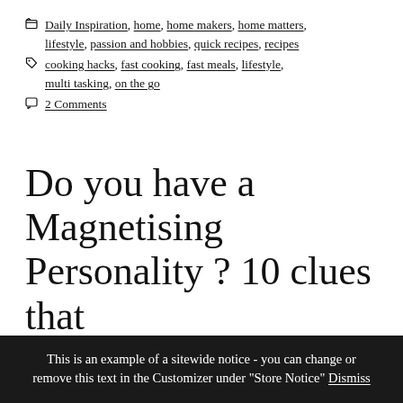Categories: Daily Inspiration, home, home makers, home matters, lifestyle, passion and hobbies, quick recipes, recipes
Tags: cooking hacks, fast cooking, fast meals, lifestyle, multi tasking, on the go
2 Comments
Do you have a Magnetising Personality ? 10 clues that you are.
The World is made up of all types of people from all walks
This is an example of a sitewide notice - you can change or remove this text in the Customizer under "Store Notice" Dismiss